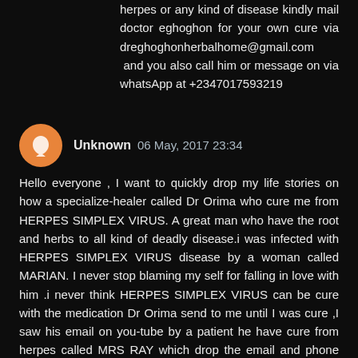herpes or any kind of disease kindly mail doctor eghoghon for your own cure via dreghoghonherbalhome@gmail.com and you also call him or message on via whatsApp at +2347017593219
Unknown 06 May, 2017 23:34
Hello everyone , I want to quickly drop my life stories on how a specialize-healer called Dr Orima who cure me from HERPES SIMPLEX VIRUS. A great man who have the root and herbs to all kind of deadly disease.i was infected with HERPES SIMPLEX VIRUS disease by a woman called MARIAN. I never stop blaming my self for falling in love with him .i never think HERPES SIMPLEX VIRUS can be cure with the medication Dr Orima send to me until I was cure ,I saw his email on you-tube by a patient he have cure from herpes called MRS RAY which drop the email and phone contact of him that make me get cure by contacting him.i really thank MRS